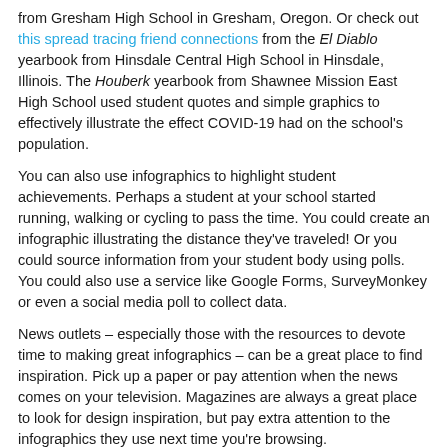from Gresham High School in Gresham, Oregon. Or check out this spread tracing friend connections from the El Diablo yearbook from Hinsdale Central High School in Hinsdale, Illinois. The Houberk yearbook from Shawnee Mission East High School used student quotes and simple graphics to effectively illustrate the effect COVID-19 had on the school's population.
You can also use infographics to highlight student achievements. Perhaps a student at your school started running, walking or cycling to pass the time. You could create an infographic illustrating the distance they've traveled! Or you could source information from your student body using polls. You could also use a service like Google Forms, SurveyMonkey or even a social media poll to collect data.
News outlets – especially those with the resources to devote time to making great infographics – can be a great place to find inspiration. Pick up a paper or pay attention when the news comes on your television. Magazines are always a great place to look for design inspiration, but pay extra attention to the infographics they use next time you're browsing.
When you create your infographics, don't forget to include a footer with sources if appropriate.
How to make infographics
There are tons of sources online that can help you create an amazing infographic. If you have a Creative Cloud account, you can use Adobe Spark to create a stunning design. Even if you don't have access to use Spark, it's worth browsing their template page for ideas.